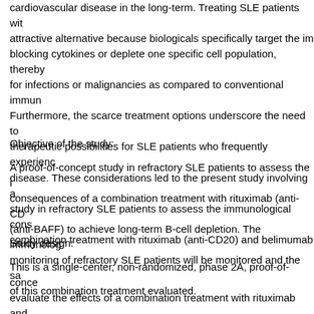cardiovascular disease in the long-term. Treating SLE patients with attractive alternative because biologicals specifically target the im blocking cytokines or deplete one specific cell population, thereby for infections or malignancies as compared to conventional immun Furthermore, the scarce treatment options underscore the need t therapeutic possibilities for SLE patients who frequently experienc disease. These considerations led to the present study involving a study in refractory SLE patients to assess the immunological cons combination treatment with rituximab (anti-CD20) and belimumab
Objective of the study:
A proof-of-concept study in refractory SLE patients to assess the i consequences of a combination treatment with rituximab (anti-CD (anti-BAFF) to achieve long-term B-cell depletion. The immunolog monitoring of refractory SLE patients will be monitored and the sa of this combination treatment evaluated.
Study design:
This is a single-center, non-randomized, phase 2A, proof-of-conce evaluate the effects of a combination treatment with rituximab and